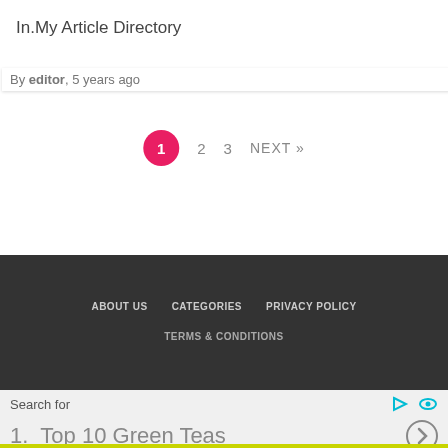In.My Article Directory
By editor, 5 years ago
1   2   3   NEXT »
ABOUT US   CATEGORIES   PRIVACY POLICY   TERMS & CONDITIONS
Search for
1.  Top 10 Green Teas